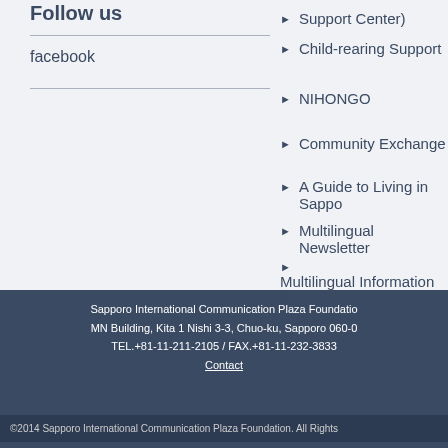Follow us
facebook
Child-rearing Support
NIHONGO
Community Exchange
A Guide to Living in Sappo
Multilingual Newsletter
Multilingual Information & Materials
Sapporo International Communication Plaza Foundatio
MN Building, Kita 1 Nishi 3-3, Chuo-ku, Sapporo 060-0
TEL.+81-11-211-2105 / FAX.+81-11-232-3833
Contact
©2014 Sapporo International Communication Plaza Foundation. All Rights